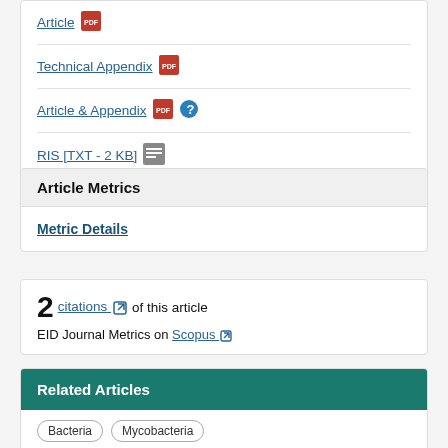Article [PDF icon]
Technical Appendix [PDF icon]
Article & Appendix [PDF icon] [Help icon]
RIS [TXT - 2 KB] [TXT icon]
Article Metrics
Metric Details
2 citations of this article
EID Journal Metrics on Scopus
Related Articles
Bacteria
Mycobacteria
Fetal Loss and Preterm Birth Caused by Intraamniotic